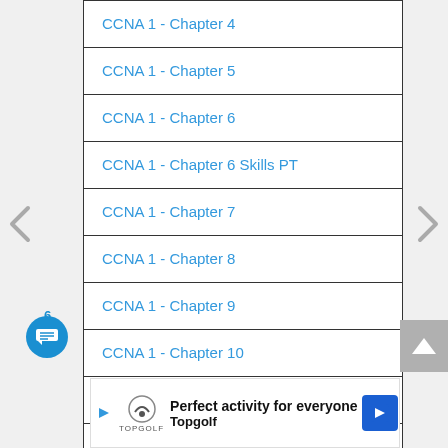CCNA 1 - Chapter 4
CCNA 1 - Chapter 5
CCNA 1 - Chapter 6
CCNA 1 - Chapter 6 Skills PT
CCNA 1 - Chapter 7
CCNA 1 - Chapter 8
CCNA 1 - Chapter 9
CCNA 1 - Chapter 10
CCNA 1 - Chapter 11
CCNA 1 PT Practice Skills
CCNA 1 - Practice Final
Perfect activity for everyone Topgolf